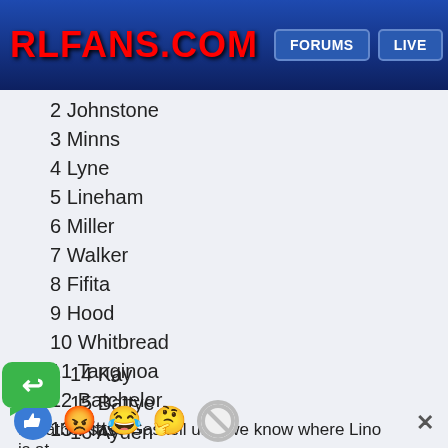RLFANS.COM FORUMS LIVE
2 Johnstone
3 Minns
4 Lyne
5 Lineham
6 Miller
7 Walker
8 Fifita
9 Hood
10 Whitbread
11 Tanginoa
12 Batchelor
13 Pitts
14 Kay
15 Battye
16 Ayden
17 Crowther
I'd rather save Gaskell until we know where Lino is at.